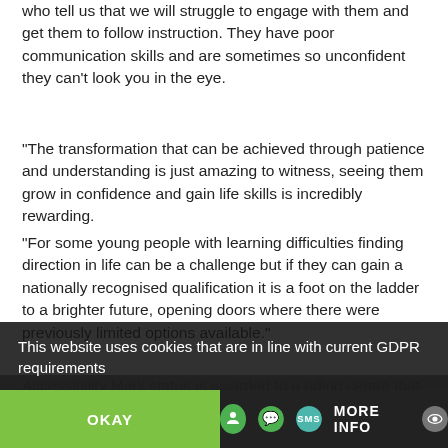who tell us that we will struggle to engage with them and get them to follow instruction. They have poor communication skills and are sometimes so unconfident they can't look you in the eye.
“The transformation that can be achieved through patience and understanding is just amazing to witness, seeing them grow in confidence and gain life skills is incredibly rewarding.
“For some young people with learning difficulties finding direction in life can be a challenge but if they can gain a nationally recognised qualification it is a foot on the ladder to a brighter future, opening doors where there were previously limited options available.”
Accessibility Mark status is awarded to a riding centre that has
This website uses cookies that are in line with current GDPR requirements